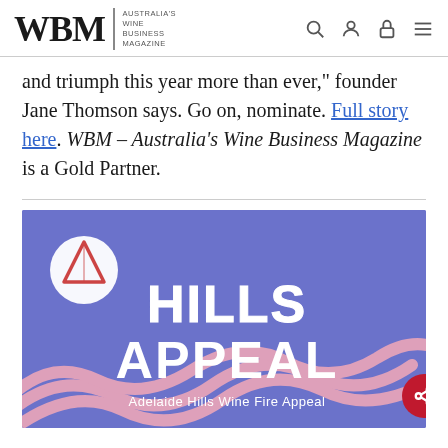WBM – Australia's Wine Business Magazine
and triumph this year more than ever," founder Jane Thomson says. Go on, nominate. Full story here. WBM – Australia's Wine Business Magazine is a Gold Partner.
[Figure (illustration): Hills Appeal – Adelaide Hills Wine Fire Appeal promotional banner. Purple/blue background with stylized wavy pink decorative lines. White circle logo with triangle/mountain icon top left. Large bold white text 'HILLS APPEAL'. Smaller white text 'Adelaide Hills Wine Fire Appeal'.]